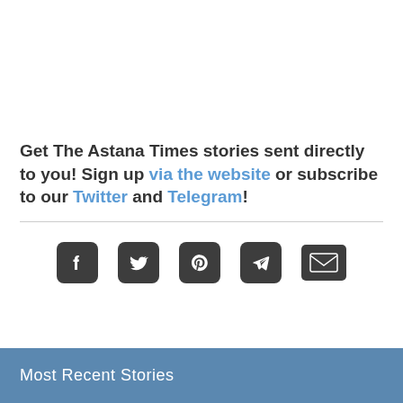Get The Astana Times stories sent directly to you! Sign up via the website or subscribe to our Twitter and Telegram!
[Figure (infographic): Row of 5 social media icon buttons: Facebook, Twitter, Pinterest, Telegram, Email — all dark rounded squares/rectangles]
Most Recent Stories